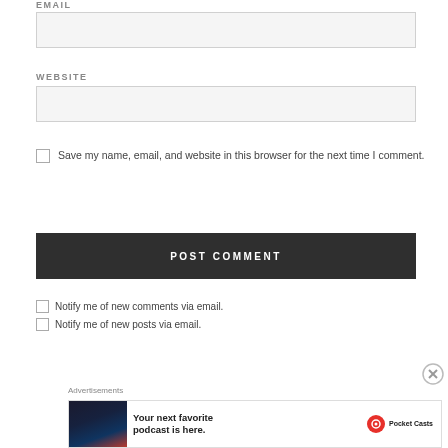EMAIL
WEBSITE
Save my name, email, and website in this browser for the next time I comment.
POST COMMENT
Notify me of new comments via email.
Notify me of new posts via email.
Advertisements
[Figure (screenshot): Advertisement for Pocket Casts podcast app with dark UI screenshot and text 'Your next favorite podcast is here.']